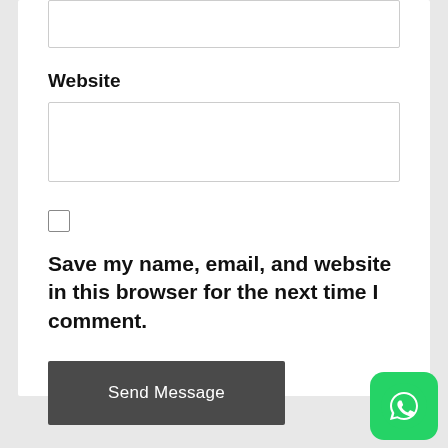[Figure (screenshot): Top input field (partial, cut off at top of page)]
Website
[Figure (screenshot): Website input text field]
[Figure (screenshot): Checkbox (unchecked)]
Save my name, email, and website in this browser for the next time I comment.
[Figure (screenshot): Send Message button]
[Figure (logo): WhatsApp icon button in bottom right corner]